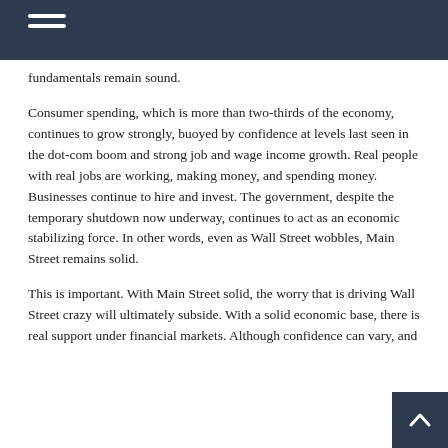fundamentals remain sound.
Consumer spending, which is more than two-thirds of the economy, continues to grow strongly, buoyed by confidence at levels last seen in the dot-com boom and strong job and wage income growth. Real people with real jobs are working, making money, and spending money. Businesses continue to hire and invest. The government, despite the temporary shutdown now underway, continues to act as an economic stabilizing force. In other words, even as Wall Street wobbles, Main Street remains solid.
This is important. With Main Street solid, the worry that is driving Wall Street crazy will ultimately subside. With a solid economic base, there is real support under financial markets. Although confidence can vary, and